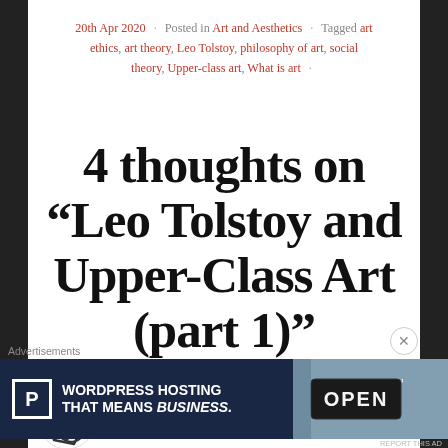20th Apr 2020 · Posted in Art and Aesthetics · Tagged art ethics, art theory, Leo Tolstoy, philosophy of art, social theory, Upper-class art, What is art ·
4 thoughts on “Leo Tolstoy and Upper-Class Art (part 1)”
Michael Newberry says: 20th Apr 2020 at 5:37 pm
[Figure (illustration): User avatar icon: diamond/eraser shape outline in dark color]
[Figure (photo): Advertisement banner: WordPress Hosting That Means Business. with OPEN sign photo on right]